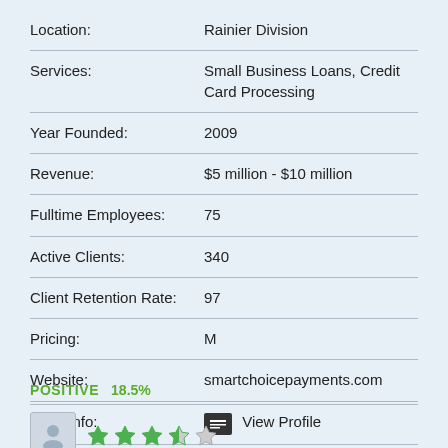| Field | Value |
| --- | --- |
| Location: | Rainier Division |
| Services: | Small Business Loans, Credit Card Processing |
| Year Founded: | 2009 |
| Revenue: | $5 million - $10 million |
| Fulltime Employees: | 75 |
| Active Clients: | 340 |
| Client Retention Rate: | 97 |
| Pricing: | M |
| Website: | smartchoicepayments.com |
| More Info: | View Profile |
POSITIVE   18.5%